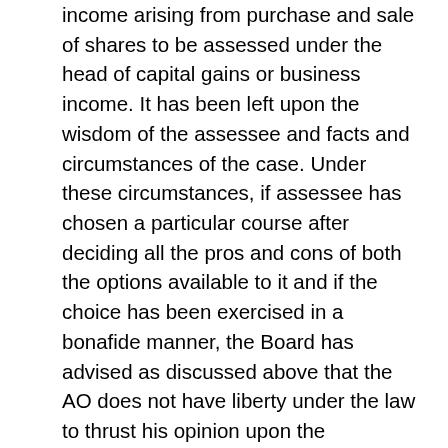income arising from purchase and sale of shares to be assessed under the head of capital gains or business income. It has been left upon the wisdom of the assessee and facts and circumstances of the case. Under these circumstances, if assessee has chosen a particular course after deciding all the pros and cons of both the options available to it and if the choice has been exercised in a bonafide manner, the Board has advised as discussed above that the AO does not have liberty under the law to thrust his opinion upon the assessee, so long as the assessee follows his choice on consistent basis.
(vii) Turning back to the facts of the case before us, it is apparent that the assessee had adopted a particular course. He explicitly